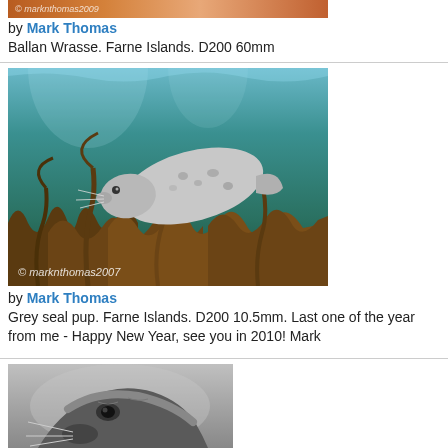[Figure (photo): Partial top of an underwater fish photo (Ballan Wrasse) with watermark marknthomas2009]
by Mark Thomas
Ballan Wrasse. Farne Islands. D200 60mm
[Figure (photo): Grey seal pup swimming underwater above kelp. Farne Islands. Watermark marknthomas2007]
by Mark Thomas
Grey seal pup. Farne Islands. D200 10.5mm. Last one of the year from me - Happy New Year, see you in 2010! Mark
[Figure (photo): Black and white close-up photo of a seal's face, partially visible at bottom of page]